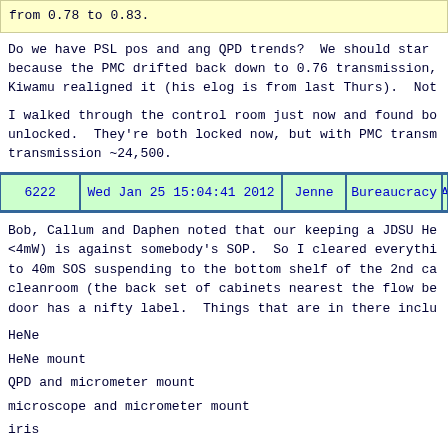from 0.78 to 0.83.
Do we have PSL pos and ang QPD trends?  We should star because the PMC drifted back down to 0.76 transmission, Kiwamu realigned it (his elog is from last Thurs).  Not
I walked through the control room just now and found bo unlocked.  They're both locked now, but with PMC transm transmission ~24,500.
| 6222 | Wed Jan 25 15:04:41 2012 | Jenne | Bureaucracy | SAF |
| --- | --- | --- | --- | --- |
Bob, Callum and Daphen noted that our keeping a JDSU He <4mW) is against somebody's SOP.  So I cleared everythi to 40m SOS suspending to the bottom shelf of the 2nd ca cleanroom (the back set of cabinets nearest the flow be door has a nifty label.  Things that are in there inclu
HeNe
HeNe mount
QPD and micrometer mount
microscope and micrometer mount
iris